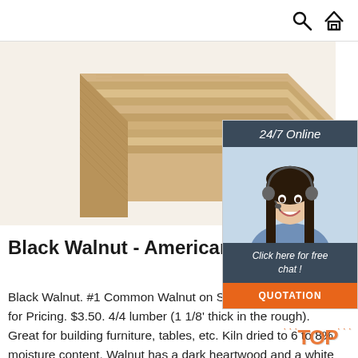Search and Home navigation icons
[Figure (photo): Stacked wood planks / lumber panels seen from corner angle, light tan/blonde wood color]
[Figure (infographic): 24/7 Online chat widget sidebar with dark blue-gray header saying '24/7 Online', photo of smiling woman with headset, dark footer saying 'Click here for free chat!', and orange QUOTATION button]
Black Walnut - American Walnut Ipe Wood
Black Walnut. #1 Common Walnut on Sale! 500+ bd ft: Call for Pricing. $3.50. 4/4 lumber (1 1/8' thick in the rough). Great for building furniture, tables, etc. Kiln dried to 6 to 8% moisture content. Walnut has a dark heartwood and a white sapwood.